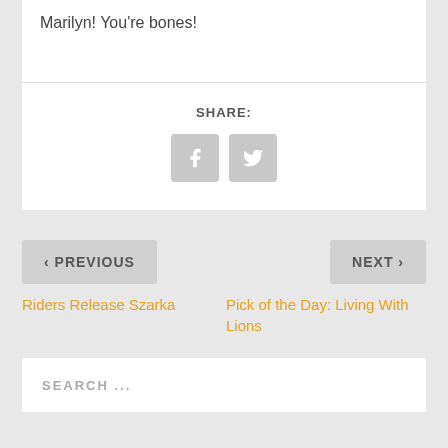Marilyn! You're bones!
SHARE:
[Figure (other): Facebook and Twitter share icon buttons]
< PREVIOUS
Riders Release Szarka
NEXT >
Pick of the Day: Living With Lions
SEARCH ...